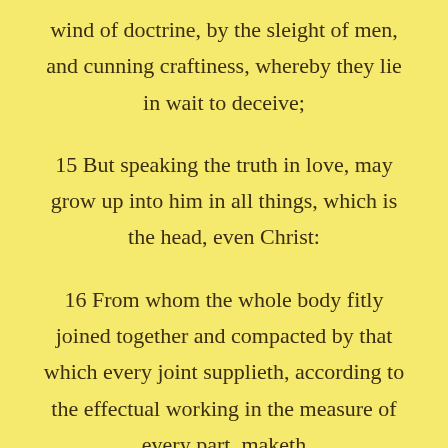wind of doctrine, by the sleight of men, and cunning craftiness, whereby they lie in wait to deceive;
15 But speaking the truth in love, may grow up into him in all things, which is the head, even Christ:
16 From whom the whole body fitly joined together and compacted by that which every joint supplieth, according to the effectual working in the measure of every part, maketh